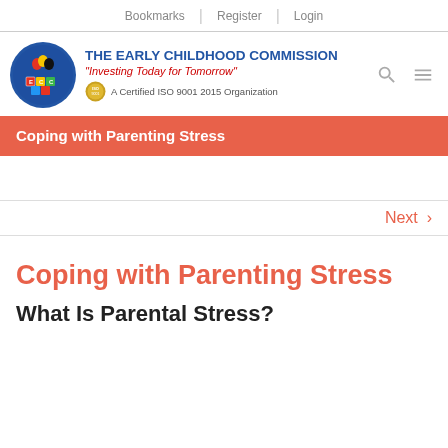Bookmarks | Register | Login
[Figure (logo): The Early Childhood Commission logo with circular emblem showing colored figures and building blocks, blue circle background. Text: THE EARLY CHILDHOOD COMMISSION, 'Investing Today for Tomorrow', A Certified ISO 9001 2015 Organization]
Coping with Parenting Stress
Next >
Coping with Parenting Stress
What Is Parental Stress?